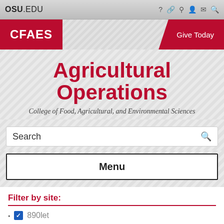OSU.EDU
Agricultural Operations
College of Food, Agricultural, and Environmental Sciences
Search
Menu
Filter by site:
890let